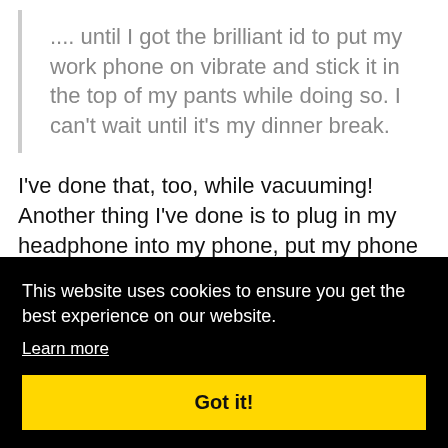.... until I got the brilliant id to put my work phone on vibrate and stick it in the top of my pants while doing so. I can't wait until it's my dinner break.
I've done that, too, while vacuuming! Another thing I've done is to plug in my headphone into my phone, put my phone in my pocket, and keep one plug in my ear. If and when the phone rings, I never miss it! Of [...]ugh to [...] have
This website uses cookies to ensure you get the best experience on our website.
Learn more
Got it!